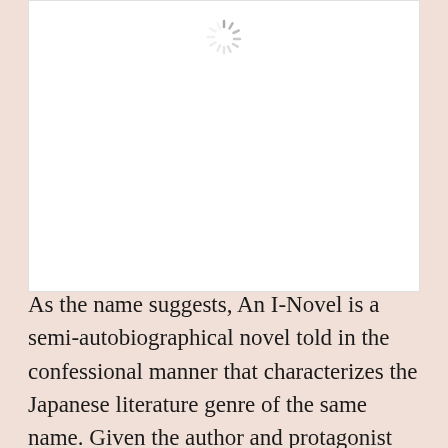[Figure (other): White image placeholder box with a loading spinner icon at the top center]
As the name suggests, An I-Novel is a semi-autobiographical novel told in the confessional manner that characterizes the Japanese literature genre of the same name. Given the author and protagonist Minae's fascination with the Meiji period of Japan's history, it is only